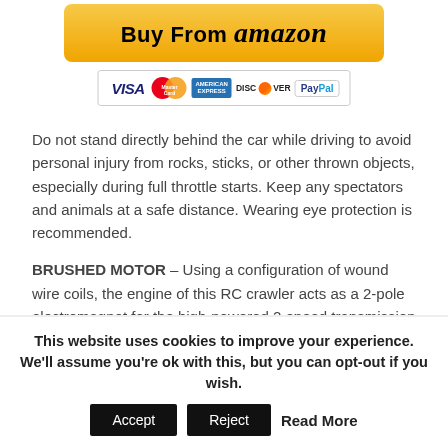[Figure (other): Buy From Amazon button with golden/yellow gradient background and bold text]
[Figure (other): Payment method icons: VISA, Mastercard, American Express, Discover, PayPal]
Do not stand directly behind the car while driving to avoid personal injury from rocks, sticks, or other thrown objects, especially during full throttle starts. Keep any spectators and animals at a safe distance. Wearing eye protection is recommended.
BRUSHED MOTOR – Using a configuration of wound wire coils, the engine of this RC crawler acts as a 2-pole electromagnet for the high-powered 2-speed transmission (high/low).
This website uses cookies to improve your experience. We'll assume you're ok with this, but you can opt-out if you wish.
Accept Reject Read More